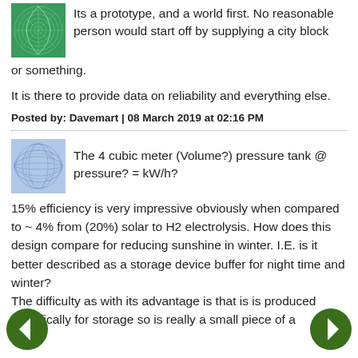Its a prototype, and a world first. No reasonable person would start off by supplying a city block or something.
It is there to provide data on reliability and everything else.
Posted by: Davemart | 08 March 2019 at 02:16 PM
The 4 cubic meter (Volume?) pressure tank @ pressure? = kW/h?
15% efficiency is very impressive obviously when compared to ~ 4% from (20%) solar to H2 electrolysis. How does this design compare for reducing sunshine in winter. I.E. is it better described as a storage device buffer for night time and winter? The difficulty as with its advantage is that is is produced specifically for storage so is really a small piece of a